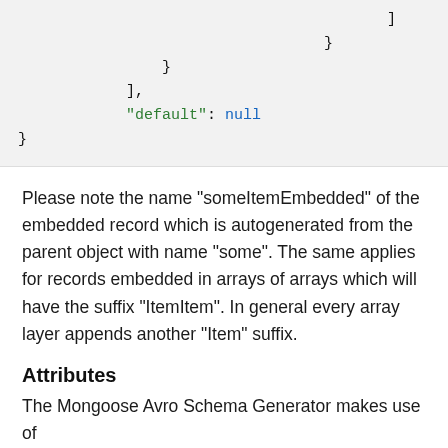]
                    }
                }
            ],
            "default": null
}
Please note the name "someItemEmbedded" of the embedded record which is autogenerated from the parent object with name "some". The same applies for records embedded in arrays of arrays which will have the suffix "ItemItem". In general every array layer appends another "Item" suffix.
Attributes
The Mongoose Avro Schema Generator makes use of